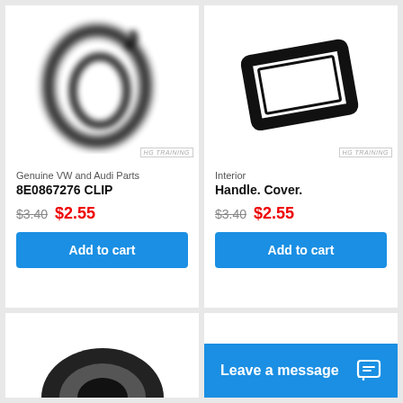[Figure (photo): Blurry photo of a black rubber O-ring / clip against white background with HG Training watermark]
Genuine VW and Audi Parts
8E0867276 CLIP
$3.40  $2.55
Add to cart
[Figure (photo): Photo of a black rectangular plastic handle cover frame against white background with HG Training watermark]
Interior
Handle. Cover.
$3.40  $2.55
Add to cart
[Figure (photo): Partial view of a black auto part, bottom of page cut off]
Leave a message